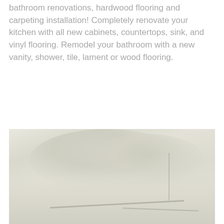bathroom renovations, hardwood flooring and carpeting installation! Completely renovate your kitchen with all new cabinets, countertops, sink, and vinyl flooring. Remodel your bathroom with a new vanity, shower, tile, lament or wood flooring.
[Figure (photo): Faded outdoor photo showing trees and a structure or roofline, very light/washed out tones of beige and grey]